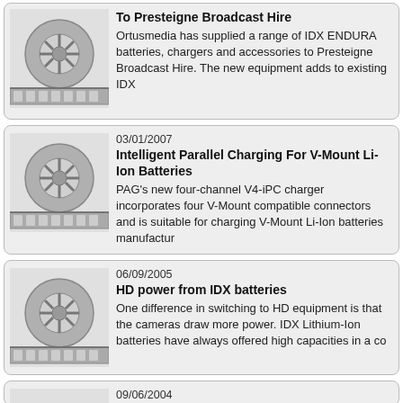[Figure (illustration): Film reel illustration - card 1]
Ortusmedia Supplies IDX Endura Batteries To Presteigne Broadcast Hire
Ortusmedia has supplied a range of IDX ENDURA batteries, chargers and accessories to Presteigne Broadcast Hire. The new equipment adds to existing IDX
03/01/2007
[Figure (illustration): Film reel illustration - card 2]
Intelligent Parallel Charging For V-Mount Li-Ion Batteries
PAG's new four-channel V4-iPC charger incorporates four V-Mount compatible connectors and is suitable for charging V-Mount Li-Ion batteries manufactur
06/09/2005
[Figure (illustration): Film reel illustration - card 3]
HD power from IDX batteries
One difference in switching to HD equipment is that the cameras draw more power. IDX Lithium-Ion batteries have always offered high capacities in a co
09/06/2004